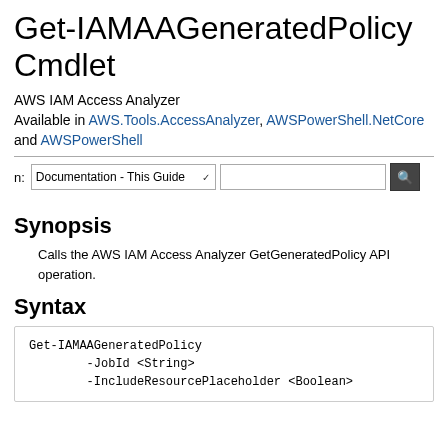Get-IAMAAGeneratedPolicy Cmdlet
AWS IAM Access Analyzer
Available in AWS.Tools.AccessAnalyzer, AWSPowerShell.NetCore and AWSPowerShell
Synopsis
Calls the AWS IAM Access Analyzer GetGeneratedPolicy API operation.
Syntax
Get-IAMAAGeneratedPolicy
        -JobId <String>
        -IncludeResourcePlaceholder <Boolean>